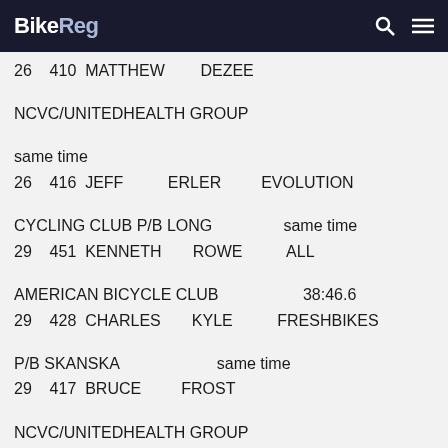BikeReg
26  410  MATTHEW  DEZEE  NCVC/UNITEDHEALTH GROUP  same time
26  416  JEFF  ERLER  EVOLUTION CYCLING CLUB P/B LONG  same time
29  451  KENNETH  ROWE  ALL AMERICAN BICYCLE CLUB  38:46.6
29  428  CHARLES  KYLE  FRESHBIKES P/B SKANSKA  same time
29  417  BRUCE  FROST  NCVC/UNITEDHEALTH GROUP  same time
MASTERS 35+ CAT 3/4  STAGE 3 CRITERIUM
PLACE  BIB  FIRST  LAST  TEAM  TIME
1  377  TOMAS  QUIJANO  FRESHBIKES